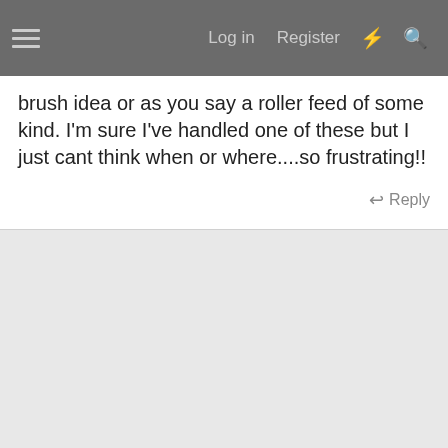Log in  Register
brush idea or as you say a roller feed of some kind. I'm sure I've handled one of these but I just cant think when or where....so frustrating!!
Reply